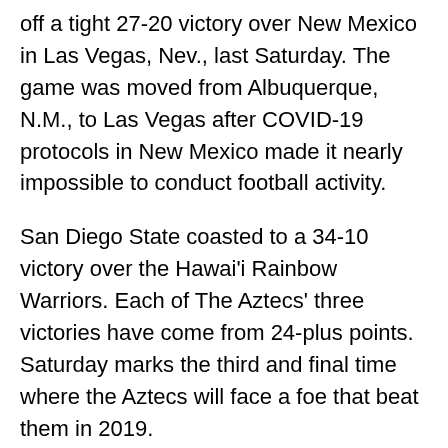off a tight 27-20 victory over New Mexico in Las Vegas, Nev., last Saturday. The game was moved from Albuquerque, N.M., to Las Vegas after COVID-19 protocols in New Mexico made it nearly impossible to conduct football activity.
San Diego State coasted to a 34-10 victory over the Hawai'i Rainbow Warriors. Each of The Aztecs' three victories have come from 24-plus points. Saturday marks the third and final time where the Aztecs will face a foe that beat them in 2019.
Nevada upset San Diego State, who was ranked No. 24 in the AP Poll, 17-13 on the road last year in Carson, Calif., the Wolf Pack's second road victory versus the Aztecs and first ranked road win against any opponent in school history.